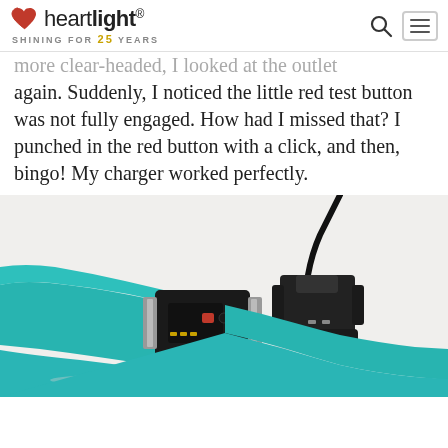heartlight® — SHINING FOR 25 YEARS
more clear-headed, I looked at the outlet again. Suddenly, I noticed the little red test button was not fully engaged. How had I missed that? I punched in the red button with a click, and then, bingo! My charger worked perfectly.
[Figure (photo): A teal/turquoise fitness tracker wristband next to a small black magnetic charging dock with a cable, photographed on a white background.]